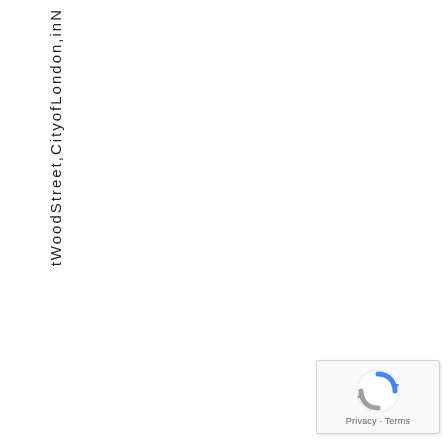tWoodStreet,CityofLondon,inN
[Figure (other): reCAPTCHA widget with rotating arrow logo and Privacy/Terms text]